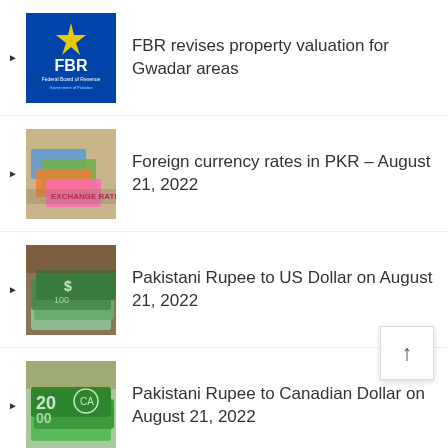FBR revises property valuation for Gwadar areas
Foreign currency rates in PKR – August 21, 2022
Pakistani Rupee to US Dollar on August 21, 2022
Pakistani Rupee to Canadian Dollar on August 21, 2022